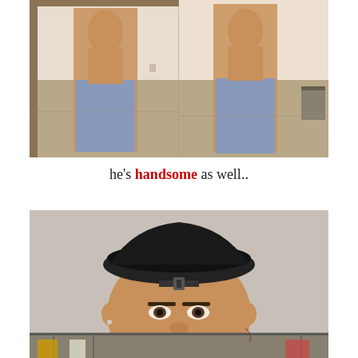[Figure (photo): Two side-by-side mirror selfie photos of a shirtless athletic man wearing jeans, taking a mirror selfie in what appears to be an apartment or home setting.]
he's handsome as well..
[Figure (photo): Close-up photo of a man wearing a black backwards baseball cap, looking at the camera, standing in front of a clothing rack.]